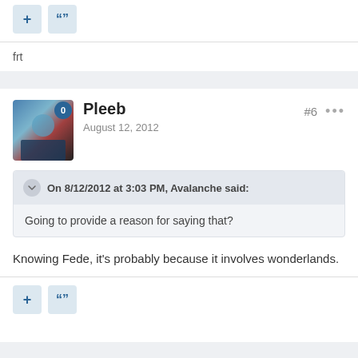frt
Pleeb
August 12, 2012
#6
On 8/12/2012 at 3:03 PM, Avalanche said:
Going to provide a reason for saying that?
Knowing Fede, it's probably because it involves wonderlands.